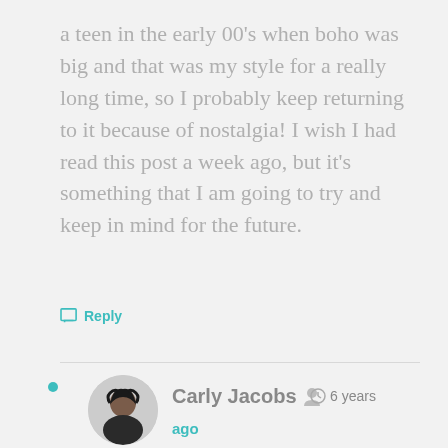a teen in the early 00's when boho was big and that was my style for a really long time, so I probably keep returning to it because of nostalgia! I wish I had read this post a week ago, but it's something that I am going to try and keep in mind for the future.
Reply
Carly Jacobs  6 years ago